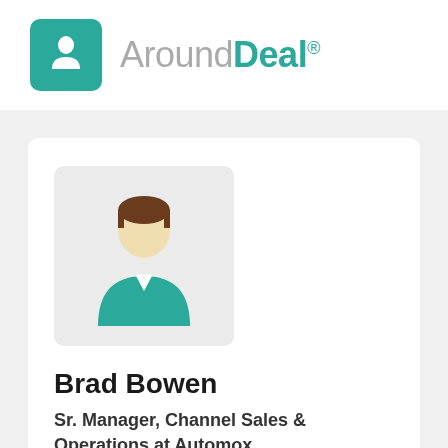[Figure (logo): AroundDeal logo with teal rocket icon and text 'AroundDeal' with registered trademark symbol]
[Figure (illustration): Generic person avatar illustration with teal shirt and brown hair on light gray background]
Brad Bowen
Sr. Manager, Channel Sales & Operations at Automox